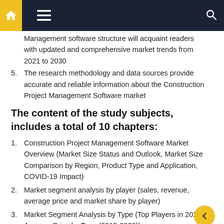Navigation bar with home, menu, and search icons
Management software structure will acquaint readers with updated and comprehensive market trends from 2021 to 2030
5. The research methodology and data sources provide accurate and reliable information about the Construction Project Management Software market
The content of the study subjects, includes a total of 10 chapters:
1. Construction Project Management Software Market Overview (Market Size Status and Outlook, Market Size Comparison by Region, Product Type and Application, COVID-19 Impact)
2. Market segment analysis by player (sales, revenue, average price and market share by player)
3. Market Segment Analysis by Type (Top Players in 2020, Average Price by Type (2015-2020))